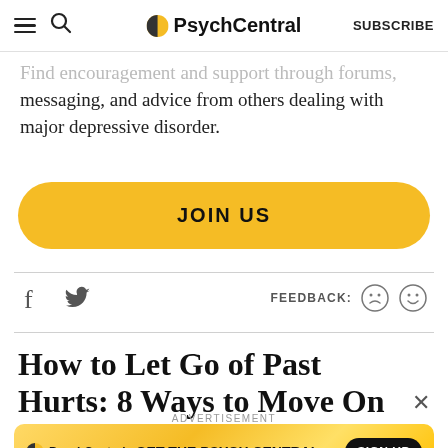PsychCentral | SUBSCRIBE
Find encouragement and support through forums, messaging, and advice from others dealing with major depressive disorder.
[Figure (other): Yellow rounded JOIN US call-to-action button]
[Figure (other): Social share icons (Facebook, Twitter) and feedback icons (sad face, happy face)]
How to Let Go of Past Hurts: 8 Ways to Move On
[Figure (other): PsychCentral advertisement banner: GET THE PSYCH CENTRAL with SIGN UP button]
ADVERTISEMENT